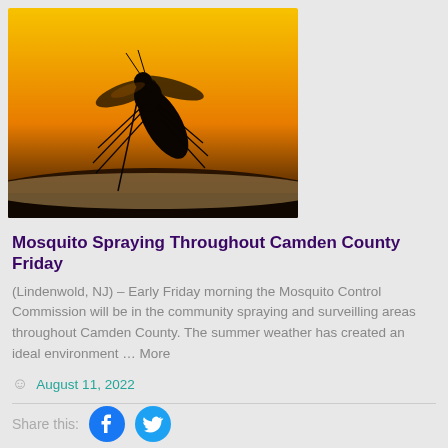[Figure (photo): Silhouette of a mosquito on skin against an orange/yellow sunset background]
Mosquito Spraying Throughout Camden County Friday
(Lindenwold, NJ) – Early Friday morning the Mosquito Control Commission will be in the community spraying and surveilling areas throughout Camden County. The summer weather has created an ideal environment … More
August 11, 2022
Share this: